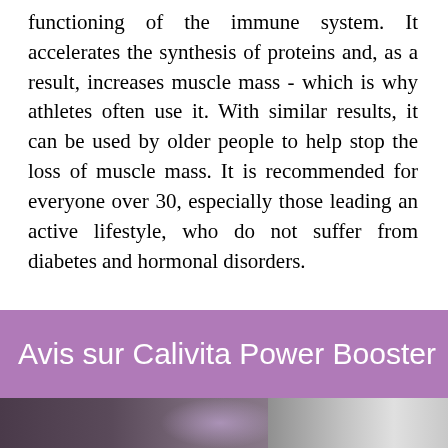functioning of the immune system. It accelerates the synthesis of proteins and, as a result, increases muscle mass - which is why athletes often use it. With similar results, it can be used by older people to help stop the loss of muscle mass. It is recommended for everyone over 30, especially those leading an active lifestyle, who do not suffer from diabetes and hormonal disorders.
Avis sur Calivita Power Booster
[Figure (photo): Photo of a boxer/fighter man on the left side with purple glowing light effect, and supplement bottles on the right side, against a dark purple-grey background.]